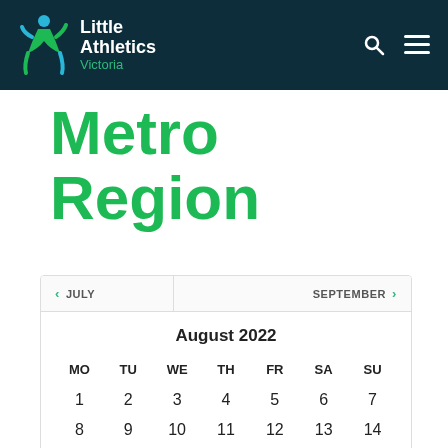Little Athletics Victoria
Metro Region
| MO | TU | WE | TH | FR | SA | SU |
| --- | --- | --- | --- | --- | --- | --- |
| 1 | 2 | 3 | 4 | 5 | 6 | 7 |
| 8 | 9 | 10 | 11 | 12 | 13 | 14 |